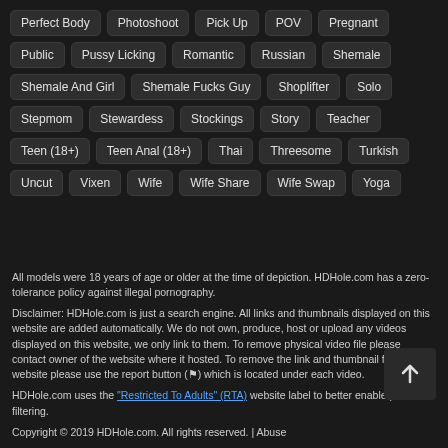Perfect Body
Photoshoot
Pick Up
POV
Pregnant
Public
Pussy Licking
Romantic
Russian
Shemale
Shemale And Girl
Shemale Fucks Guy
Shoplifter
Solo
Stepmom
Stewardess
Stockings
Story
Teacher
Teen (18+)
Teen Anal (18+)
Thai
Threesome
Turkish
Uncut
Vixen
Wife
Wife Share
Wife Swap
Yoga
All models were 18 years of age or older at the time of depiction. HDHole.com has a zero-tolerance policy against illegal pornography.
Disclaimer: HDHole.com is just a search engine. All links and thumbnails displayed on this website are added automatically. We do not own, produce, host or upload any videos displayed on this website, we only link to them. To remove physical video file please contact owner of the website where it hosted. To remove the link and thumbnail from this website please use the report button (⚑) which is located under each video.
HDHole.com uses the "Restricted To Adults" (RTA) website label to better enable parental filtering.
Copyright © 2019 HDHole.com. All rights reserved. | Abuse